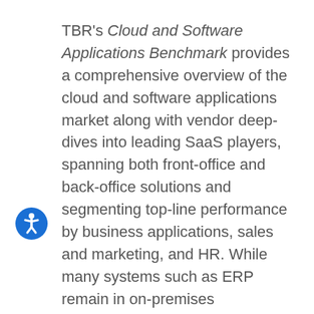TBR's Cloud and Software Applications Benchmark provides a comprehensive overview of the cloud and software applications market along with vendor deep-dives into leading SaaS players, spanning both front-office and back-office solutions and segmenting top-line performance by business applications, sales and marketing, and HR. While many systems such as ERP remain in on-premises environments, the applications market is rapidly transitioning to the cloud, which despite eroding perpetual license and maintenance opportunities, supports the upsell narratives of software incumbents such as Microsoft, SAP and Oracle.